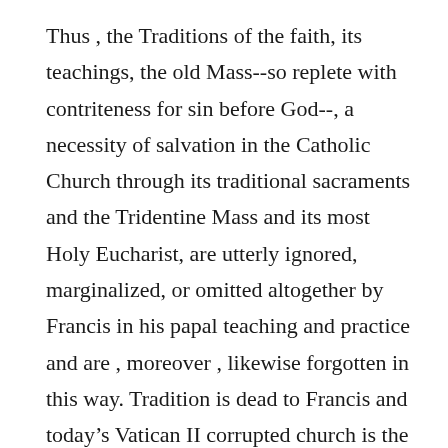Thus , the Traditions of the faith, its teachings, the old Mass--so replete with contriteness for sin before God--, a necessity of salvation in the Catholic Church through its traditional sacraments and the Tridentine Mass and its most Holy Eucharist, are utterly ignored, marginalized, or omitted altogether by Francis in his papal teaching and practice and are , moreover , likewise forgotten in this way. Tradition is dead to Francis and today’s Vatican II corrupted church is the disaster wherein your average Catholic today does not anymore even know he has to do his “Easter Duty”. Why does the apostasy go on, and on, and on, and on, with